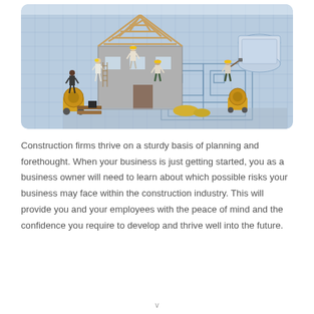[Figure (photo): Construction scene showing miniature workers building a house frame on top of architectural blueprints, with a cement mixer and construction equipment visible.]
Construction firms thrive on a sturdy basis of planning and forethought. When your business is just getting started, you as a business owner will need to learn about which possible risks your business may face within the construction industry. This will provide you and your employees with the peace of mind and the confidence you require to develop and thrive well into the future.